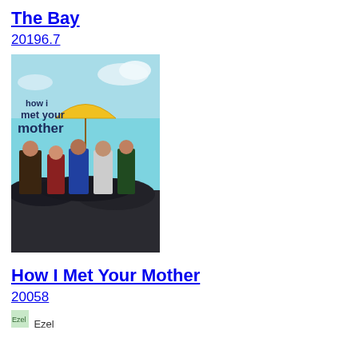The Bay
20196.7
[Figure (photo): How I Met Your Mother TV show poster featuring cast members under a yellow umbrella with dark umbrellas below, on a sky background with the show title text]
How I Met Your Mother
20058
[Figure (photo): Ezel show thumbnail image]